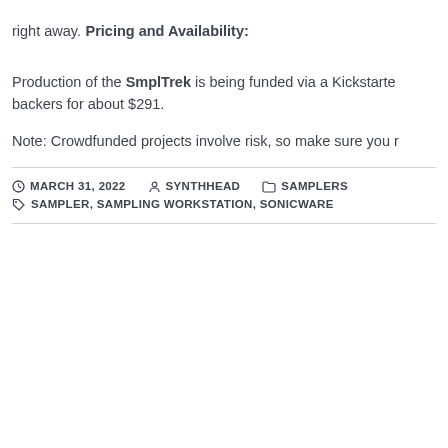right away.
Pricing and Availability:
Production of the SmplTrek is being funded via a Kickstarter backers for about $291.
Note: Crowdfunded projects involve risk, so make sure you r
MARCH 31, 2022   SYNTHHEAD   SAMPLERS   SAMPLER, SAMPLING WORKSTATION, SONICWARE